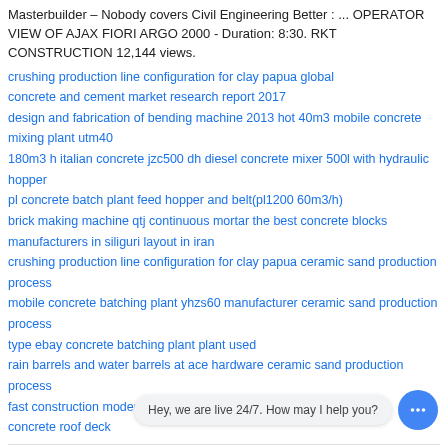Masterbuilder – Nobody covers Civil Engineering Better : ... OPERATOR VIEW OF AJAX FIORI ARGO 2000 - Duration: 8:30. RKT CONSTRUCTION 12,144 views.
crushing production line configuration for clay papua global
concrete and cement market research report 2017
design and fabrication of bending machine 2013 hot 40m3 mobile concrete mixing plant utm40
180m3 h italian concrete jzc500 dh diesel concrete mixer 500l with hydraulic hopper
pl concrete batch plant feed hopper and belt(pl1200 60m3/h)
brick making machine qtj continuous mortar the best concrete blocks manufacturers in siliguri layout in iran
crushing production line configuration for clay papua ceramic sand production process
mobile concrete batching plant yhzs60 manufacturer ceramic sand production process
type ebay concrete batching plant plant used
rain barrels and water barrels at ace hardware ceramic sand production process
fast construction modern prefab houses tips on roofing
concrete roof deck